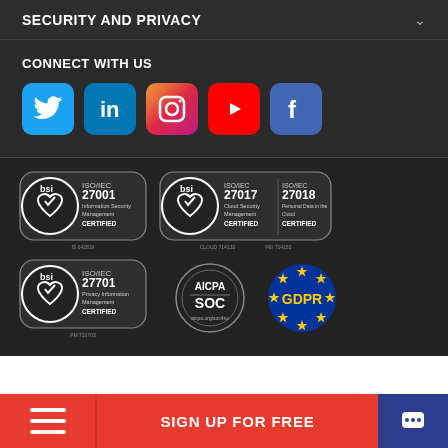SECURITY AND PRIVACY
CONNECT WITH US
[Figure (infographic): Social media icons: Twitter, LinkedIn, Instagram, YouTube, Facebook]
[Figure (infographic): BSI ISO/IEC 27001 Information Security Management CERTIFIED badge - IS 642819]
[Figure (infographic): BSI ISO/IEC 27017 Cloud Security Management CERTIFIED and ISO/IEC 27018 Personal Data in the Cloud CERTIFIED badge - CLOUD 714132, PEI 714153]
[Figure (infographic): BSI ISO/IEC 27701 Privacy Information Management CERTIFIED badge - PM 732703]
[Figure (infographic): AICPA SOC certification badge]
[Figure (infographic): GDPR badge on European Union flag blue circle with gold stars]
SIGN UP FOR FREE